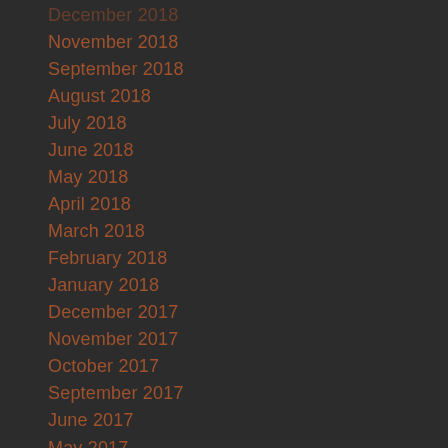December 2018
November 2018
September 2018
August 2018
July 2018
June 2018
May 2018
April 2018
March 2018
February 2018
January 2018
December 2017
November 2017
October 2017
September 2017
June 2017
May 2017
April 2017
March 2017
December 2016
November 2016